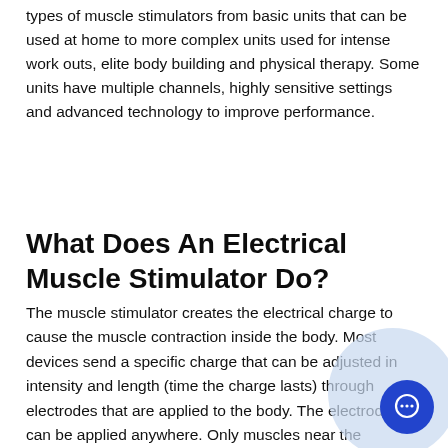types of muscle stimulators from basic units that can be used at home to more complex units used for intense work outs, elite body building and physical therapy. Some units have multiple channels, highly sensitive settings and advanced technology to improve performance.
What Does An Electrical Muscle Stimulator Do?
The muscle stimulator creates the electrical charge to cause the muscle contraction inside the body. Most devices send a specific charge that can be adjusted in intensity and length (time the charge lasts) through electrodes that are applied to the body. The electrodes can be applied anywhere. Only muscles near the electrodes will contract. Users apply the electrodes to the body part they want to work.